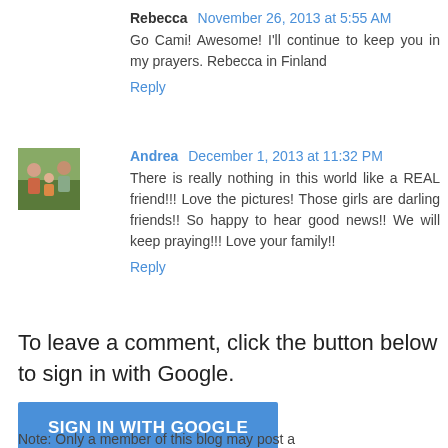Rebecca  November 26, 2013 at 5:55 AM
Go Cami! Awesome! I'll continue to keep you in my prayers. Rebecca in Finland
Reply
[Figure (photo): Small avatar photo of a family group outdoors]
Andrea  December 1, 2013 at 11:32 PM
There is really nothing in this world like a REAL friend!!! Love the pictures! Those girls are darling friends!! So happy to hear good news!! We will keep praying!!! Love your family!!
Reply
To leave a comment, click the button below to sign in with Google.
SIGN IN WITH GOOGLE
Note: Only a member of this blog may post a